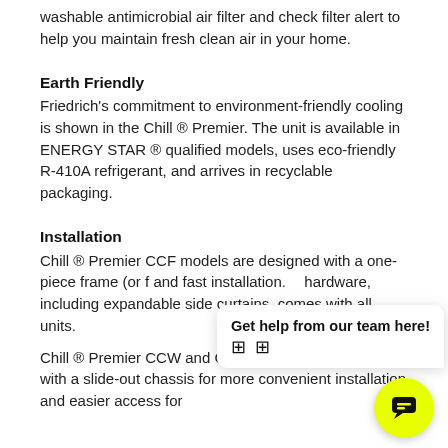washable antimicrobial air filter and check filter alert to help you maintain fresh clean air in your home.
Earth Friendly
Friedrich's commitment to environment-friendly cooling is shown in the Chill ® Premier. The unit is available in ENERGY STAR ® qualified models, uses eco-friendly R-410A refrigerant, and arrives in recyclable packaging.
Installation
Chill ® Premier CCF models are designed with a one-piece frame (or f and fast installation. hardware, including expandable side curtains, comes with all units.
Chill ® Premier CCW and CEW models are designed with a slide-out chassis for more convenient installation and easier access for
[Figure (other): Chat widget overlay showing 'Get help from our team here!' message with emoji icons, and a yellow circular FAB button with a chat icon]